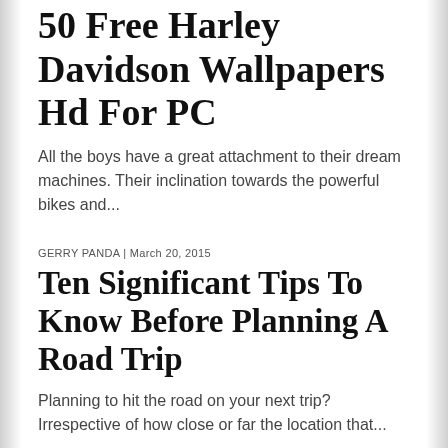50 Free Harley Davidson Wallpapers Hd For PC
All the boys have a great attachment to their dream machines. Their inclination towards the powerful bikes and...
GERRY PANDA | March 20, 2015
Ten Significant Tips To Know Before Planning A Road Trip
Planning to hit the road on your next trip? Irrespective of how close or far the location that...
GERRY PANDA | March 17, 2015
Top 10 Fastest Cars in the